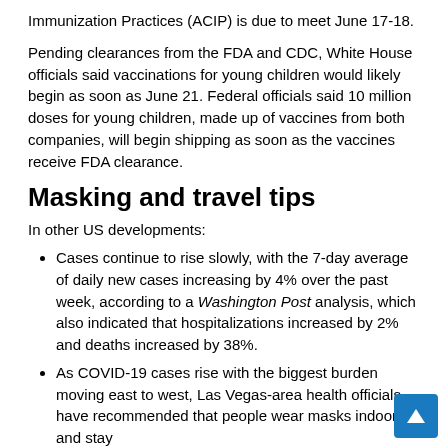Immunization Practices (ACIP) is due to meet June 17-18.
Pending clearances from the FDA and CDC, White House officials said vaccinations for young children would likely begin as soon as June 21. Federal officials said 10 million doses for young children, made up of vaccines from both companies, will begin shipping as soon as the vaccines receive FDA clearance.
Masking and travel tips
In other US developments:
Cases continue to rise slowly, with the 7-day average of daily new cases increasing by 4% over the past week, according to a Washington Post analysis, which also indicated that hospitalizations increased by 2% and deaths increased by 38%.
As COVID-19 cases rise with the biggest burden moving east to west, Las Vegas-area health officials have recommended that people wear masks indoors and stay